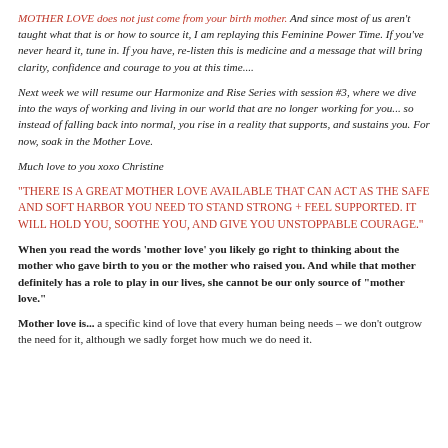MOTHER LOVE does not just come from your birth mother. And since most of us aren't taught what that is or how to source it, I am replaying this Feminine Power Time. If you've never heard it, tune in. If you have, re-listen this is medicine and a message that will bring clarity, confidence and courage to you at this time....
Next week we will resume our Harmonize and Rise Series with session #3, where we dive into the ways of working and living in our world that are no longer working for you... so instead of falling back into normal, you rise in a reality that supports, and sustains you. For now, soak in the Mother Love.
Much love to you xoxo Christine
"THERE IS A GREAT MOTHER LOVE AVAILABLE THAT CAN ACT AS THE SAFE AND SOFT HARBOR YOU NEED TO STAND STRONG + FEEL SUPPORTED. IT WILL HOLD YOU, SOOTHE YOU, AND GIVE YOU UNSTOPPABLE COURAGE."
When you read the words ‘mother love’ you likely go right to thinking about the mother who gave birth to you or the mother who raised you. And while that mother definitely has a role to play in our lives, she cannot be our only source of “mother love.”
Mother love is... a specific kind of love that every human being needs – we don’t outgrow the need for it, although we sadly forget how much we do need it.